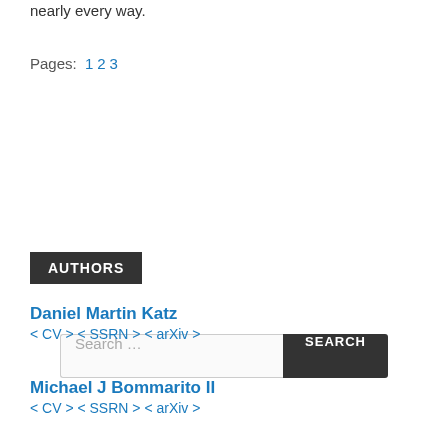nearly every way.
Pages: 1 2 3
[Figure (other): Search bar with text field placeholder 'Search ...' and dark button labeled 'SEARCH']
AUTHORS
Daniel Martin Katz
< CV > < SSRN > < arXiv >
Michael J Bommarito II
< CV > < SSRN > < arXiv >